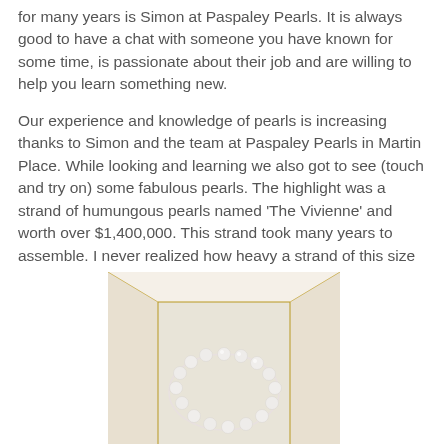for many years is Simon at Paspaley Pearls. It is always good to have a chat with someone you have known for some time, is passionate about their job and are willing to help you learn something new.
Our experience and knowledge of pearls is increasing thanks to Simon and the team at Paspaley Pearls in Martin Place. While looking and learning we also got to see (touch and try on) some fabulous pearls. The highlight was a strand of humungous pearls named 'The Vivienne' and worth over $1,400,000. This strand took many years to assemble. I never realized how heavy a strand of this size would be, probably 400gr or more.
[Figure (photo): A strand of large pearls displayed in an open yellow jewelry box with white/cream interior lining, photographed from above.]